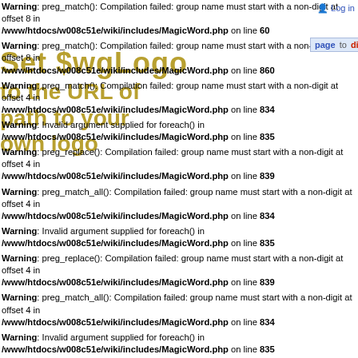Log in | page | to | discussion | 60 | edit | history
[Figure (screenshot): MediaWiki page with watermark text 'Set $wgLogo / to the URL of / path to your / own logo' overlaid on the error messages]
Warning: preg_match(): Compilation failed: group name must start with a non-digit at offset 8 in /www/htdocs/w008c51e/wiki/includes/MagicWord.php on line 60
Warning: preg_match(): Compilation failed: group name must start with a non-digit at offset 8 in /www/htdocs/w008c51e/wiki/includes/MagicWord.php on line 860
Warning: preg_match(): Compilation failed: group name must start with a non-digit at offset 4 in /www/htdocs/w008c51e/wiki/includes/MagicWord.php on line 834
Warning: Invalid argument supplied for foreach() in /www/htdocs/w008c51e/wiki/includes/MagicWord.php on line 835
Warning: preg_replace(): Compilation failed: group name must start with a non-digit at offset 4 in /www/htdocs/w008c51e/wiki/includes/MagicWord.php on line 839
Warning: preg_match_all(): Compilation failed: group name must start with a non-digit at offset 4 in /www/htdocs/w008c51e/wiki/includes/MagicWord.php on line 834
Warning: Invalid argument supplied for foreach() in /www/htdocs/w008c51e/wiki/includes/MagicWord.php on line 835
Warning: preg_replace(): Compilation failed: group name must start with a non-digit at offset 4 in /www/htdocs/w008c51e/wiki/includes/MagicWord.php on line 839
Warning: preg_match_all(): Compilation failed: group name must start with a non-digit at offset 4 in /www/htdocs/w008c51e/wiki/includes/MagicWord.php on line 834
Warning: Invalid argument supplied for foreach() in /www/htdocs/w008c51e/wiki/includes/MagicWord.php on line 835
Warning: preg_replace(): Compilation failed: group name must start with a non-digit at offset 4 in /www/htdocs/w008c51e/wiki/includes/MagicWord.php on line 839
Warning: preg_match_all(): Compilation failed: group name must start with a non-digit at offset 4 in /www/htdocs/w008c51e/wiki/includes/MagicWord.php on line 834
Warning: Invalid argument supplied for foreach() in /www/htdocs/w008c51e/wiki/includes/MagicWord.php on line 835
Warning: preg_replace(): Compilation failed: group name must start with a non-digit at offset 4 in